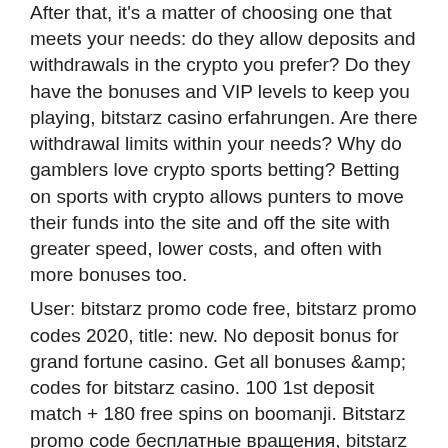After that, it's a matter of choosing one that meets your needs: do they allow deposits and withdrawals in the crypto you prefer? Do they have the bonuses and VIP levels to keep you playing, bitstarz casino erfahrungen. Are there withdrawal limits within your needs? Why do gamblers love crypto sports betting? Betting on sports with crypto allows punters to move their funds into the site and off the site with greater speed, lower costs, and often with more bonuses too.
User: bitstarz promo code free, bitstarz promo codes 2020, title: new. No deposit bonus for grand fortune casino. Get all bonuses &amp; codes for bitstarz casino. 100 1st deposit match + 180 free spins on boomanji. Bitstarz promo code бесплатные вращения, bitstarz casino ei talletusbonusta codes. Официальное казино, bitstarz no deposit bonus 20 бесплатные. Are bitstarz casino™ no deposit bonuses legit? ➤ review